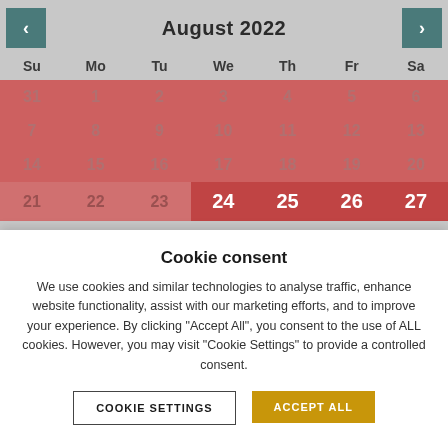[Figure (screenshot): August 2022 calendar with navigation arrows. Days 1-23 shown with reddish background (dimmed), days 24-27 highlighted in darker red with white text.]
Cookie consent
We use cookies and similar technologies to analyse traffic, enhance website functionality, assist with our marketing efforts, and to improve your experience. By clicking "Accept All", you consent to the use of ALL cookies. However, you may visit "Cookie Settings" to provide a controlled consent.
COOKIE SETTINGS
ACCEPT ALL